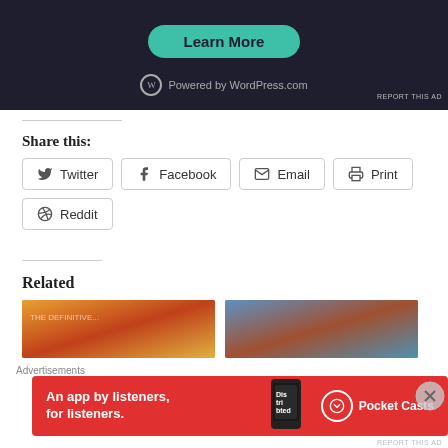[Figure (screenshot): Dark-themed WordPress.com advertisement banner with 'Learn More' teal button and 'Powered by WordPress.com' footer]
REPORT THIS AD
Share this:
Twitter  Facebook  Email  Print  Reddit
Related
[Figure (photo): Two related article thumbnail images side by side]
Advertisements
[Figure (screenshot): Pocket Casts advertisement: 'An app by listeners, for listeners.' on red background with phone graphic and Pocket Casts logo]
REPORT THIS AD